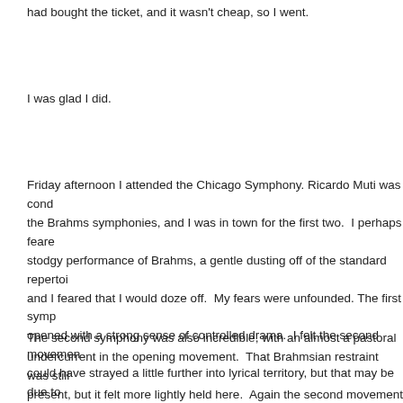had bought the ticket, and it wasn't cheap, so I went.
I was glad I did.
Friday afternoon I attended the Chicago Symphony. Ricardo Muti was cond... the Brahms symphonies, and I was in town for the first two. I perhaps feare... stodgy performance of Brahms, a gentle dusting off of the standard repertoi... and I feared that I would doze off. My fears were unfounded. The first symp... opened with a strong sense of controlled drama. I felt the second movemen... could have strayed a little further into lyrical territory, but that may be due to... own emotional yearnings more than any understanding of Brahms. The res... the piece came together beautifully with a thunderous and convincing releas... restrained turbulence in the finale, like a distant thunderstorm approaching o... be cast aside just before its climactic arrival with a sudden break in the clou... and the arrival of a sudden burst of sunshine in the form of a horn solo.
The second symphony was also incredible, with an almost a pastoral undercurrent in the opening movement. That Brahmsian restraint was still present, but it felt more lightly held here. Again the second movement did n... quite live up to my expectations. It is, to my mind, a slow, ruminative work,